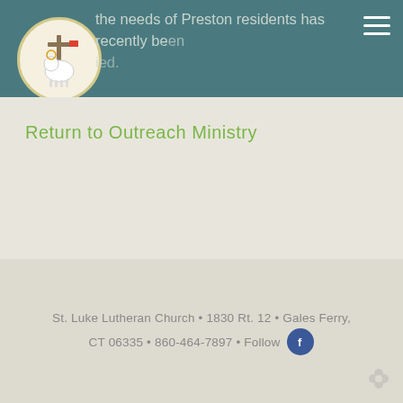the needs of Preston residents has recently been noted.
Return to Outreach Ministry
St. Luke Lutheran Church • 1830 Rt. 12 • Gales Ferry, CT 06335 • 860-464-7897 • Follow